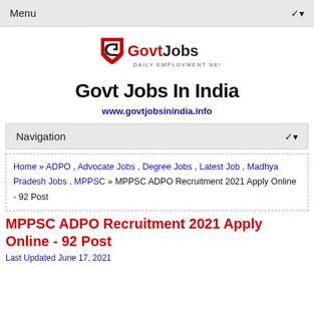Menu
[Figure (logo): GovtJobs logo with shield icon and text 'GovtJobs DAILY EMPLOYMENT NEWS']
Govt Jobs In India
www.govtjobsinindia.info
Navigation
Home » ADPO , Advocate Jobs , Degree Jobs , Latest Job , Madhya Pradesh Jobs , MPPSC » MPPSC ADPO Recruitment 2021 Apply Online - 92 Post
MPPSC ADPO Recruitment 2021 Apply Online - 92 Post
Last Updated June 17, 2021